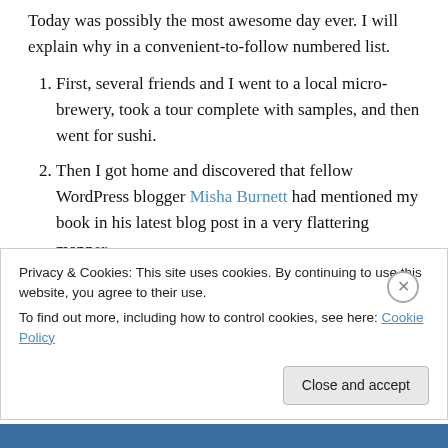Today was possibly the most awesome day ever. I will explain why in a convenient-to-follow numbered list.
First, several friends and I went to a local micro-brewery, took a tour complete with samples, and then went for sushi.
Then I got home and discovered that fellow WordPress blogger Misha Burnett had mentioned my book in his latest blog post in a very flattering manner.
Then I discovered that fellow WordPress blogger J.R. Wolfe had finished reading my book and posted a glowing review on Amazon.com
Privacy & Cookies: This site uses cookies. By continuing to use this website, you agree to their use. To find out more, including how to control cookies, see here: Cookie Policy
Close and accept